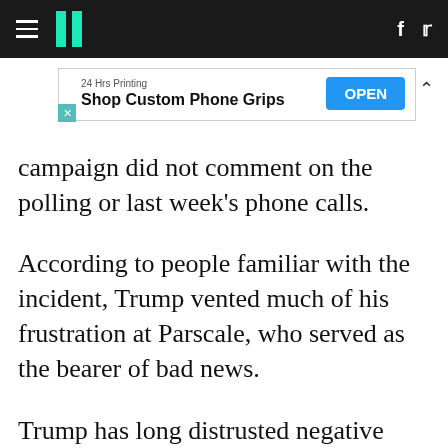HuffPost navigation with hamburger menu, logo, Facebook and Twitter icons
[Figure (screenshot): Advertisement banner: '24 Hrs Printing – Shop Custom Phone Grips' with OPEN button]
campaign did not comment on the polling or last week's phone calls.
According to people familiar with the incident, Trump vented much of his frustration at Parscale, who served as the bearer of bad news.
Trump has long distrusted negative poll numbers — telling aides for years that his gut was right about the 2016 race, when he insisted that he was ahead in the Midwest and Florida. At the same time, Parscale and other Trump aides are